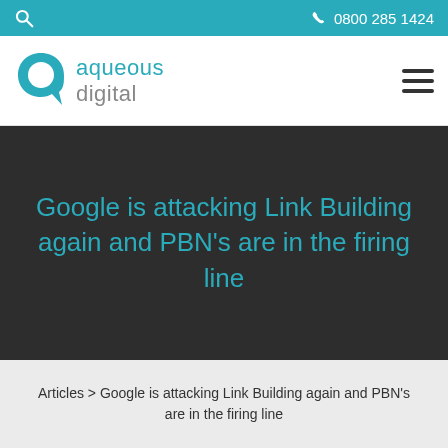0800 285 1424
[Figure (logo): Aqueous Digital logo with teal speech-bubble icon and company name]
Google is attacking Link Building again and PBN's are in the firing line
Articles > Google is attacking Link Building again and PBN's are in the firing line